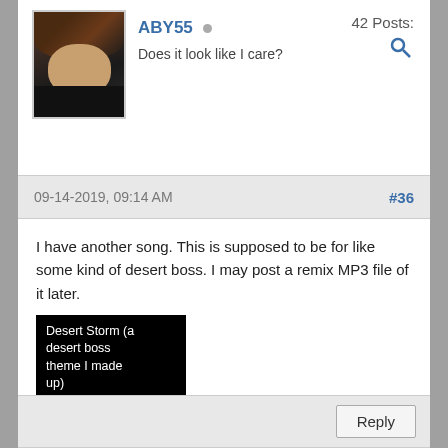[Figure (photo): User avatar photo of a person with dark hair, partially visible face, dark clothing]
ABY55
Does it look like I care?
42 Posts:
09-14-2019, 09:14 AM
#36
I have another song. This is supposed to be for like some kind of desert boss. I may post a remix MP3 file of it later.
[Figure (screenshot): Music thumbnail with black background, white text reading 'Desert Storm (a desert boss theme I made up)' and pixel-art orange/yellow lines at bottom resembling a desert landscape]
Reply
[Figure (photo): Partial user avatar with red heart/wings graphic on black background]